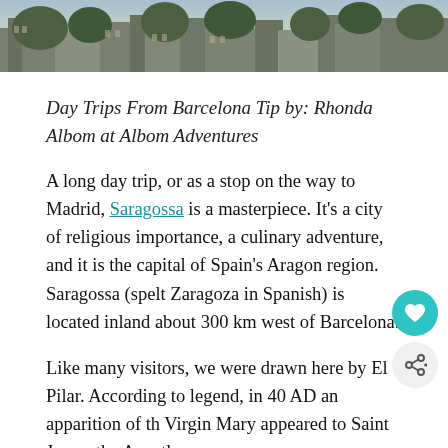[Figure (photo): Partial view of a cityscape or historic building with trees and stone architecture, cropped at the top of the page.]
Day Trips From Barcelona Tip by: Rhonda Albom at Albom Adventures
A long day trip, or as a stop on the way to Madrid, Saragossa is a masterpiece. It's a city of religious importance, a culinary adventure, and it is the capital of Spain's Aragon region. Saragossa (spelt Zaragoza in Spanish) is located inland about 300 km west of Barcelona.
Like many visitors, we were drawn here by El Pilar. According to legend, in 40 AD an apparition of the Virgin Mary appeared to Saint James the Apostle.